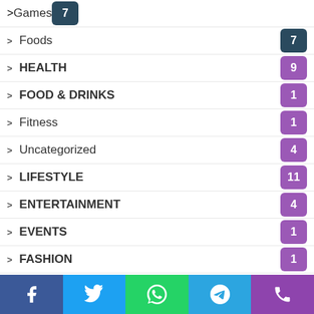Games 7
Foods 7
HEALTH 9
FOOD & DRINKS 1
Fitness 1
Uncategorized 4
LIFESTYLE 11
ENTERTAINMENT 4
EVENTS 1
FASHION 1
HOME IMPROVEMENT 1
SEO 3
EDUCATION